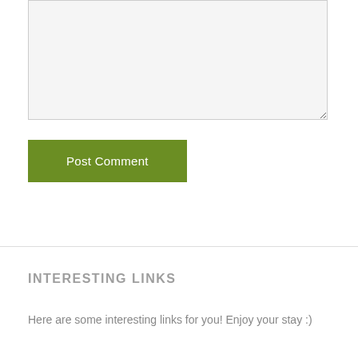[Figure (screenshot): A light gray textarea input field with a resize handle at the bottom-right corner.]
Post Comment
INTERESTING LINKS
Here are some interesting links for you! Enjoy your stay :)